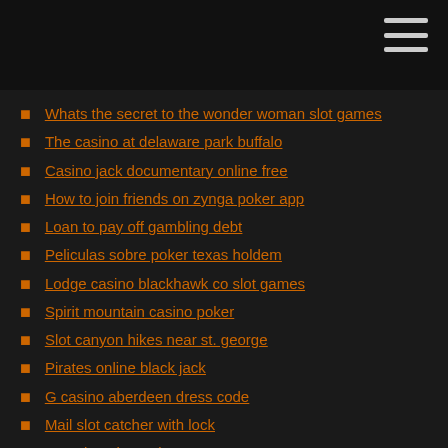Whats the secret to the wonder woman slot games
The casino at delaware park buffalo
Casino jack documentary online free
How to join friends on zynga poker app
Loan to pay off gambling debt
Peliculas sobre poker texas holdem
Lodge casino blackhawk co slot games
Spirit mountain casino poker
Slot canyon hikes near st. george
Pirates online black jack
G casino aberdeen dress code
Mail slot catcher with lock
Us poker site real money
Online casino for missouri